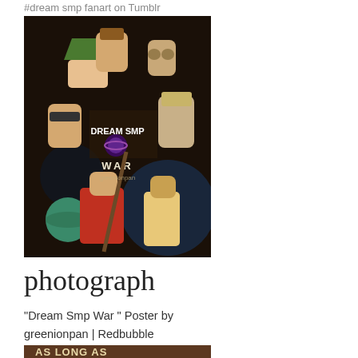#dream smp fanart on Tumblr
[Figure (illustration): Anime-style group illustration poster titled 'DREAM SMP WAR' by greenionpan, featuring multiple characters with various weapons and accessories on a dark background with space/cosmic elements]
photograph
"Dream Smp War " Poster by greenionpan | Redbubble
[Figure (illustration): Partial view of another anime-style illustration on a brown background with white text reading 'AS LONG AS I CAN'T' and a character silhouette]